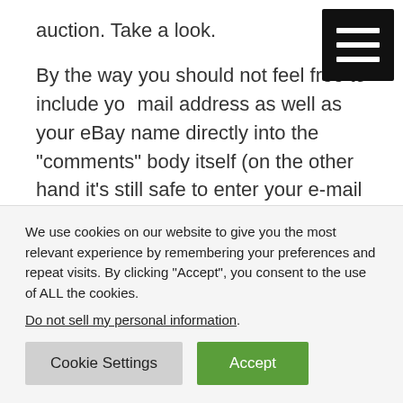auction. Take a look.
By the way you should not feel free to include your mail address as well as your eBay name directly into the “comments” body itself (on the other hand it’s still safe to enter your e-mail address on the “Email Address” field though).
You know there are countless spammers all around the world on the internet, and various kinds of “automatic
We use cookies on our website to give you the most relevant experience by remembering your preferences and repeat visits. By clicking “Accept”, you consent to the use of ALL the cookies.
Do not sell my personal information.